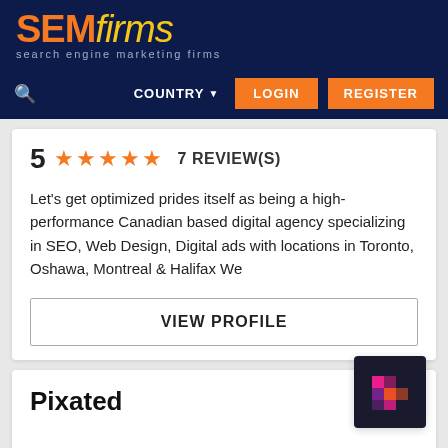SEMfirms search engine marketing firms
COUNTRY LOGIN REGISTER
5 ★★★★★ 7 REVIEW(S)
Let's get optimized prides itself as being a high-performance Canadian based digital agency specializing in SEO, Web Design, Digital ads with locations in Toronto, Oshawa, Montreal & Halifax We
VIEW PROFILE
Pixated